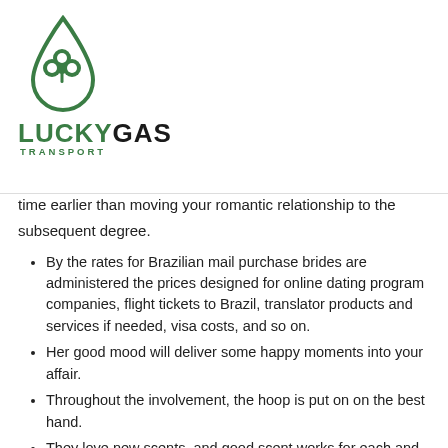[Figure (logo): LuckyGas Transport logo — green droplet/shamrock icon above the text LUCKY GAS TRANSPORT]
time earlier than moving your romantic relationship to the subsequent degree.
By the rates for Brazilian mail purchase brides are administered the prices designed for online dating program companies, flight tickets to Brazil, translator products and services if needed, visa costs, and so on.
Her good mood will deliver some happy moments into your affair.
Throughout the involvement, the hoop is put on on the best hand.
They love new scents, and good scent works for each and every girl in Brazil.
You don't need to take full responsibility for every point occurring inside your marriage, when equal and harmonious relations are what Brazilians make an